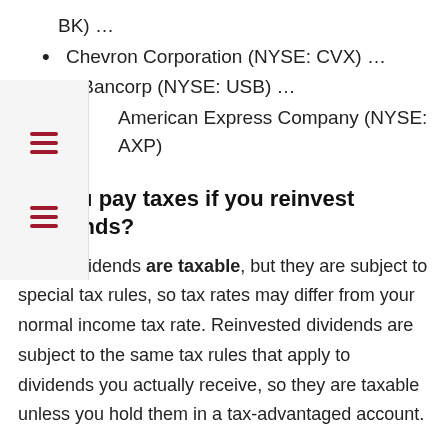BK) …
Chevron Corporation (NYSE: CVX) …
S. Bancorp (NYSE: USB) …
American Express Company (NYSE: AXP)
Do you pay taxes if you reinvest dividends?
Cash dividends are taxable, but they are subject to special tax rules, so tax rates may differ from your normal income tax rate. Reinvested dividends are subject to the same tax rules that apply to dividends you actually receive, so they are taxable unless you hold them in a tax-advantaged account.
What happens if I don't reinvest dividends?
When you don't reinvest your dividends, you increase